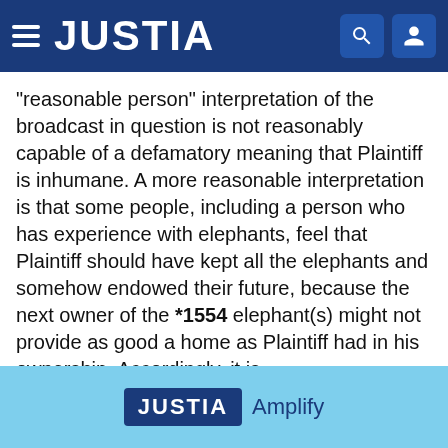JUSTIA
"reasonable person" interpretation of the broadcast in question is not reasonably capable of a defamatory meaning that Plaintiff is inhumane. A more reasonable interpretation is that some people, including a person who has experience with elephants, feel that Plaintiff should have kept all the elephants and somehow endowed their future, because the next owner of the *1554 elephant(s) might not provide as good a home as Plaintiff had in his ownership. Accordingly, it is
ORDERED that Defendant's motion for summary judgment on issues 1, 3, and 5 be granted and this cause of action be dismissed with prejudice.
JUSTIA Amplify